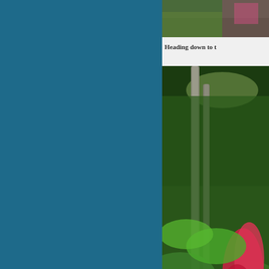[Figure (photo): Partial photo visible at top right - appears to show green grass or ground cover with some pink/red flowers]
Heading down to t
[Figure (photo): Tropical garden scene with tall palm tree trunks, lush green ferns and foliage, red flowering plants (possibly ginger or heliconia) in the middle ground, dense tropical vegetation]
One of many plants  o
[Figure (photo): Ground-level photo showing scattered pink/red flower petals on grass or ground surface]